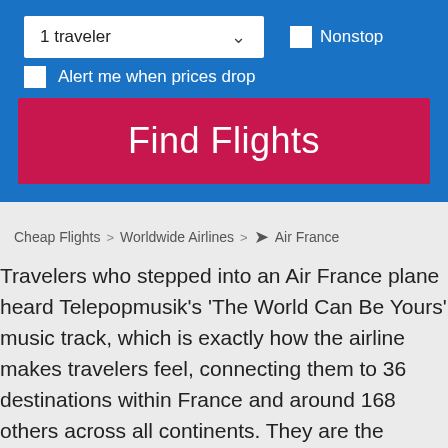1 traveler
Nonstop
Alert me when prices drop
Find Flights
Cheap Flights > Worldwide Airlines > ✈ Air France
Travelers who stepped into an Air France plane heard Telepopmusik's 'The World Can Be Yours' music track, which is exactly how the airline makes travelers feel, connecting them to 36 destinations within France and around 168 others across all continents. They are the subsidiary of Air France-KLM and a member of the